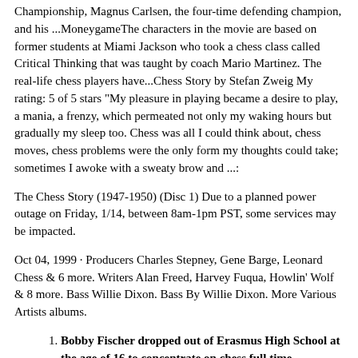Championship, Magnus Carlsen, the four-time defending champion, and his ...MoneygameThe characters in the movie are based on former students at Miami Jackson who took a chess class called Critical Thinking that was taught by coach Mario Martinez. The real-life chess players have...Chess Story by Stefan Zweig My rating: 5 of 5 stars "My pleasure in playing became a desire to play, a mania, a frenzy, which permeated not only my waking hours but gradually my sleep too. Chess was all I could think about, chess moves, chess problems were the only form my thoughts could take; sometimes I awoke with a sweaty brow and ...:
The Chess Story (1947-1950) (Disc 1) Due to a planned power outage on Friday, 1/14, between 8am-1pm PST, some services may be impacted.
Oct 04, 1999 · Producers Charles Stepney, Gene Barge, Leonard Chess & 6 more. Writers Alan Freed, Harvey Fuqua, Howlin' Wolf & 8 more. Bass Willie Dixon. Bass By Willie Dixon. More Various Artists albums.
Bobby Fischer dropped out of Erasmus High School at the age of 16 to concentrate on chess full time. Anything else was a distraction to him. When his own mother moved out of the apartment to pursue medical training